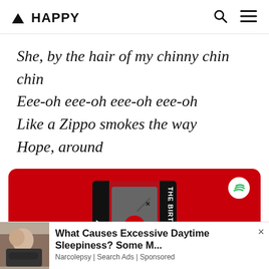▲ HAPPY
She, by the hair of my chinny chin chin
Eee-oh eee-oh eee-oh eee-oh
Like a Zippo smokes the way
Hope, around
[Figure (other): Spotify banner advertisement with red background showing album art for 'Hee-Haw' birthday party playlist, with Spotify logo in top right corner]
[Figure (other): Display advertisement showing an elderly man sleeping with headline 'What Causes Excessive Daytime Sleepiness? Some M...' from Narcolepsy Search Ads, Sponsored]